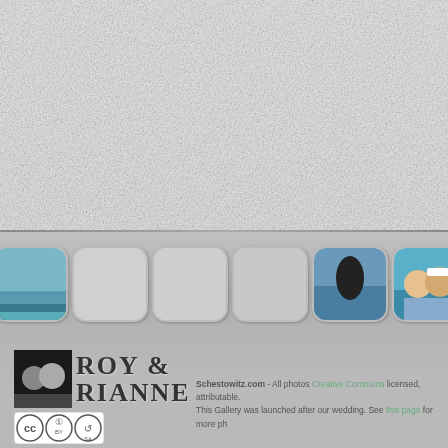[Figure (photo): Top area: light gray/white textured background, upper half of page]
[Figure (photo): Horizontal strip of rounded-square photo thumbnails showing vacation/wedding photos, on metallic gray background]
[Figure (logo): Roy & Rianne logo with couple photo in black and white, bold serif text 'ROY & RIANNE']
[Figure (logo): Creative Commons CC BY-SA license badge]
Schestowitz.com - All photos Creative Commons licensed, attributable. This Gallery was launched after our wedding. See this page for more ph...